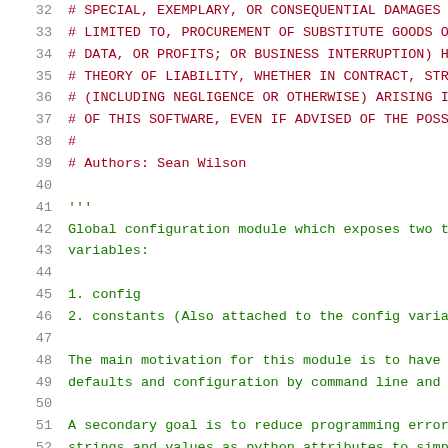32  # SPECIAL, EXEMPLARY, OR CONSEQUENTIAL DAMAGES
33  # LIMITED TO, PROCUREMENT OF SUBSTITUTE GOODS O
34  # DATA, OR PROFITS; OR BUSINESS INTERRUPTION) H
35  # THEORY OF LIABILITY, WHETHER IN CONTRACT, STR
36  # (INCLUDING NEGLIGENCE OR OTHERWISE) ARISING I
37  # OF THIS SOFTWARE, EVEN IF ADVISED OF THE POSS
38  #
39  # Authors: Sean Wilson
40
41  '''
42  Global configuration module which exposes two ty
43  variables:
44
45  1. config
46  2. constants (Also attached to the config variabl
47
48  The main motivation for this module is to have a
49  defaults and configuration by command line and
50
51  A secondary goal is to reduce programming errors
52  strings and values as python attributes to simpl